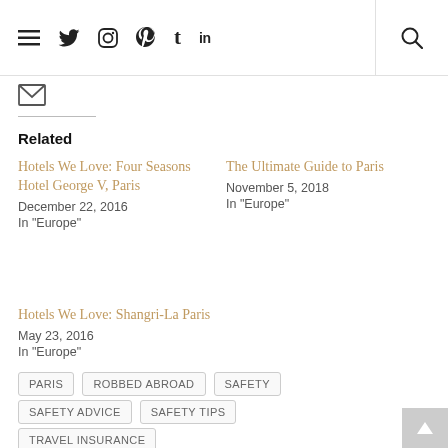≡ Twitter Instagram Pinterest Tumblr LinkedIn | Search
[Figure (other): Email/envelope icon]
Related
Hotels We Love: Four Seasons Hotel George V, Paris
December 22, 2016
In "Europe"
The Ultimate Guide to Paris
November 5, 2018
In "Europe"
Hotels We Love: Shangri-La Paris
May 23, 2016
In "Europe"
PARIS
ROBBED ABROAD
SAFETY
SAFETY ADVICE
SAFETY TIPS
TRAVEL INSURANCE